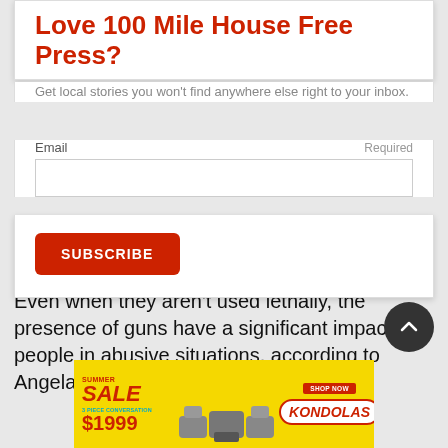Love 100 Mile House Free Press?
Get local stories you won't find anywhere else right to your inbox.
Email  Required
SUBSCRIBE
Even when they aren't used lethally, the presence of guns have a significant impact on people in abusive situations, according to Angela Marie MacDougall, the executive
[Figure (photo): Kondolas furniture advertisement banner showing summer sale with 3-piece conversation set for $1999]